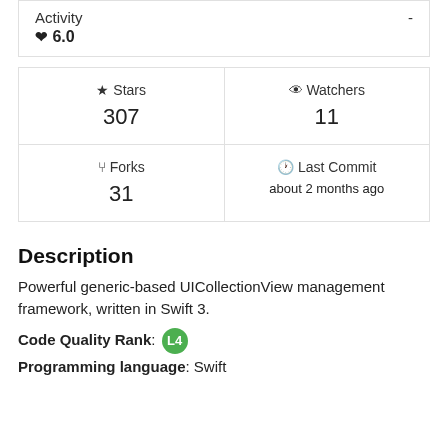Activity - ♥ 6.0
| Stars | Watchers |
| --- | --- |
| 307 | 11 |
| Forks | Last Commit |
| --- | --- |
| 31 | about 2 months ago |
Description
Powerful generic-based UICollectionView management framework, written in Swift 3.
Code Quality Rank: L4
Programming language: Swift